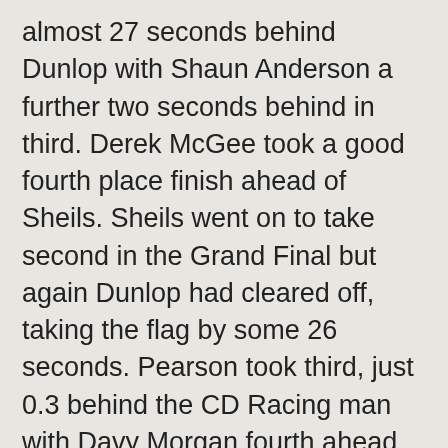almost 27 seconds behind Dunlop with Shaun Anderson a further two seconds behind in third. Derek McGee took a good fourth place finish ahead of Sheils. Sheils went on to take second in the Grand Final but again Dunlop had cleared off, taking the flag by some 26 seconds. Pearson took third, just 0.3 behind the CD Racing man with Davy Morgan fourth ahead of Anderson.
Neither of the Dunlop brothers lined up for the Supersport race but it still proved to be an exciting encounter with Wayne Kirwan taking a popular win on the Crossan's Yamaha. Pearson finished second just 0.003 behind the Drogheda rider with McGee, William Davison and Michael Sweeney filling the rest of the top five positions.
The Supertwins and 250's shared the grid as only four 250's were entered and William Dunlop took an easy win beating Michael Sweeney by 46 seconds with Brian